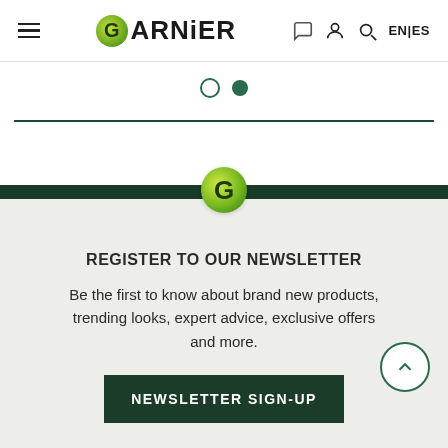Garnier — EN | ES navigation header
[Figure (other): Pagination dots — one empty circle and one filled dark green circle]
[Figure (logo): Garnier G green leaf logo icon centered over dark band]
REGISTER TO OUR NEWSLETTER
Be the first to know about brand new products, trending looks, expert advice, exclusive offers and more.
NEWSLETTER SIGN-UP